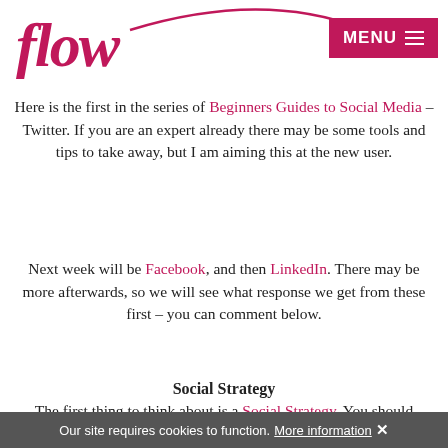flow — MENU
Here is the first in the series of Beginners Guides to Social Media – Twitter.  If you are an expert already there may be some tools and tips to take away, but I am aiming this at the new user.
Next week will be Facebook, and then LinkedIn.  There may be more afterwards, so we will see what response we get from these first – you can comment below.
Social Strategy
The first thing to think about is a Social Strategy.  You should consider this before doing anything, so I will assume you have already worked out what strategy is and how you want to engage with your customers.  This is a big enough subject on its own, so I will write a separate post on this, but in the mean time, if you would like help, please contact me.
Our site requires cookies to function.  More information ✕